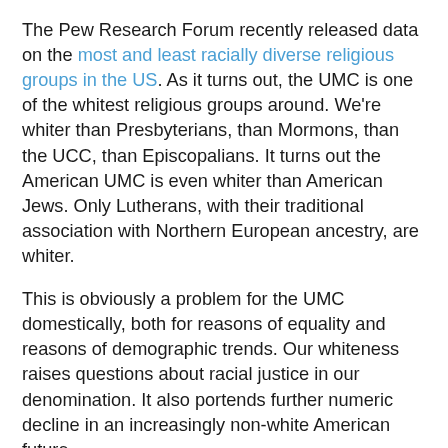The Pew Research Forum recently released data on the most and least racially diverse religious groups in the US. As it turns out, the UMC is one of the whitest religious groups around. We're whiter than Presbyterians, than Mormons, than the UCC, than Episcopalians. It turns out the American UMC is even whiter than American Jews. Only Lutherans, with their traditional association with Northern European ancestry, are whiter.
This is obviously a problem for the UMC domestically, both for reasons of equality and reasons of demographic trends. Our whiteness raises questions about racial justice in our denomination. It also portends further numeric decline in an increasingly non-white American future.
The whiteness of the American UMC is also a problem, though, as the UMC seeks to map a global future. While most American UMC members (60% of the global church) might be white, most African (30% of the global church) and Filipino (5% of the global church) members are not. White Americans will need to learn to relate to non-white, non-Americans on a more equal footing.